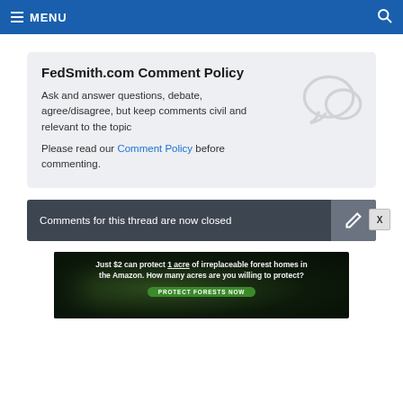MENU
FedSmith.com Comment Policy
Ask and answer questions, debate, agree/disagree, but keep comments civil and relevant to the topic
Please read our Comment Policy before commenting.
Comments for this thread are now closed
[Figure (other): Advertisement banner: Just $2 can protect 1 acre of irreplaceable forest homes in the Amazon. How many acres are you willing to protect? PROTECT FORESTS NOW]